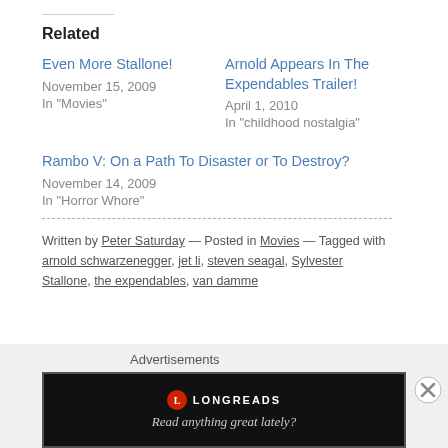Related
Even More Stallone!
November 15, 2009
In "Movies"
Arnold Appears In The Expendables Trailer!
April 1, 2010
In "childhood nostalgia"
Rambo V: On a Path To Disaster or To Destroy?
November 14, 2009
In "Horror Whore"
Written by Peter Saturday — Posted in Movies — Tagged with arnold schwarzenegger, jet li, steven seagal, Sylvester Stallone, the expendables, van damme
Advertisements
[Figure (screenshot): Longreads advertisement banner with logo and tagline 'Read anything great lately?']